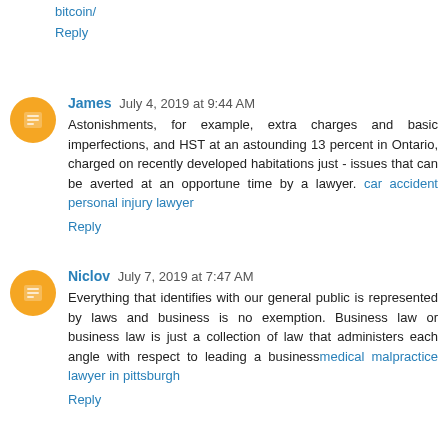bitcoin/
Reply
James  July 4, 2019 at 9:44 AM
Astonishments, for example, extra charges and basic imperfections, and HST at an astounding 13 percent in Ontario, charged on recently developed habitations just - issues that can be averted at an opportune time by a lawyer. car accident personal injury lawyer
Reply
Niclov  July 7, 2019 at 7:47 AM
Everything that identifies with our general public is represented by laws and business is no exemption. Business law or business law is just a collection of law that administers each angle with respect to leading a businessmedical malpractice lawyer in pittsburgh
Reply